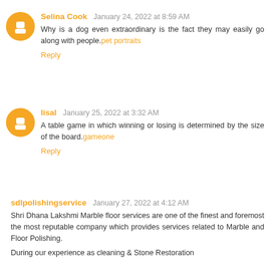Selina Cook  January 24, 2022 at 8:59 AM
Why is a dog even extraordinary is the fact they may easily go along with people. pet portraits
Reply
lisal  January 25, 2022 at 3:32 AM
A table game in which winning or losing is determined by the size of the board. gameone
Reply
sdlpolishingservice  January 27, 2022 at 4:12 AM
Shri Dhana Lakshmi Marble floor services are one of the finest and foremost the most reputable company which provides services related to Marble and Floor Polishing.
During our experience as cleaning & Stone Restoration